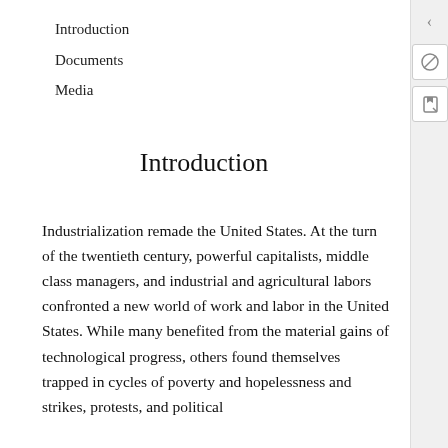Introduction
Documents
Media
Introduction
Industrialization remade the United States. At the turn of the twentieth century, powerful capitalists, middle class managers, and industrial and agricultural labors confronted a new world of work and labor in the United States. While many benefited from the material gains of technological progress, others found themselves trapped in cycles of poverty and hopelessness and strikes, protests, and political